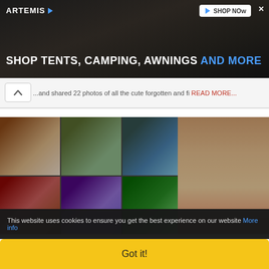[Figure (other): Artemis advertisement banner with dark rocky background, logo, shop now button, and headline 'SHOP TENTS, CAMPING, AWNINGS AND MORE']
...and shared 22 photos of all the cute forgotten and fi... READ MORE...
[Figure (photo): Woman with blonde hair in red top pointing at a large collage of family photos mounted on a wall]
This website uses cookies to ensure you get the best experience on our website More info
Got it!